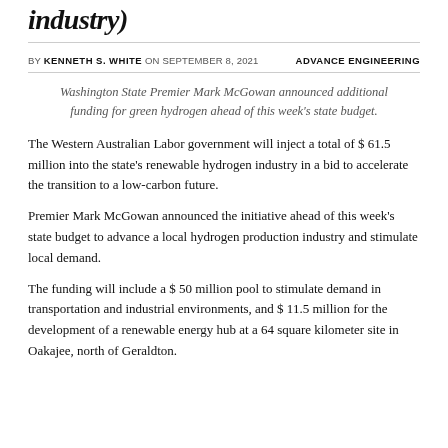industry)
BY KENNETH S. WHITE ON SEPTEMBER 8, 2021    ADVANCE ENGINEERING
Washington State Premier Mark McGowan announced additional funding for green hydrogen ahead of this week's state budget.
The Western Australian Labor government will inject a total of $ 61.5 million into the state's renewable hydrogen industry in a bid to accelerate the transition to a low-carbon future.
Premier Mark McGowan announced the initiative ahead of this week's state budget to advance a local hydrogen production industry and stimulate local demand.
The funding will include a $ 50 million pool to stimulate demand in transportation and industrial environments, and $ 11.5 million for the development of a renewable energy hub at a 64 square kilometer site in Oakajee, north of Geraldton.